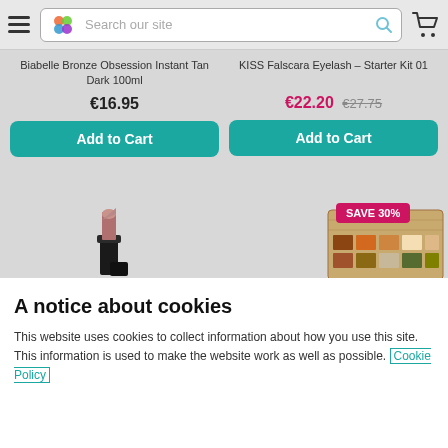[Figure (screenshot): Website header with hamburger menu, logo, search bar with magnifying glass icon, and cart icon]
Biabelle Bronze Obsession Instant Tan Dark 100ml
KISS Falscara Eyelash – Starter Kit 01
€16.95
€22.20 €27.75
Add to Cart
Add to Cart
[Figure (photo): Lipstick product photo - nude/mauve color lipstick with black case]
SAVE 30%
[Figure (photo): Eyeshadow palette product photo with warm brown tones]
A notice about cookies
This website uses cookies to collect information about how you use this site. This information is used to make the website work as well as possible. Cookie Policy